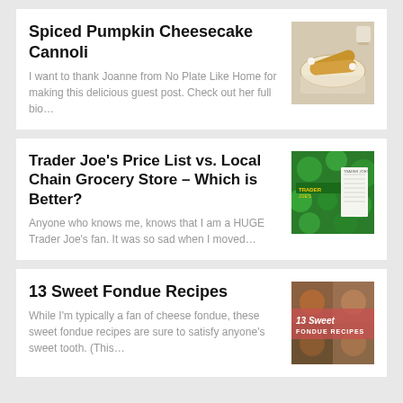Spiced Pumpkin Cheesecake Cannoli
I want to thank Joanne from No Plate Like Home for making this delicious guest post. Check out her full bio…
[Figure (photo): Cannoli on a white plate with powdered sugar, cup of coffee in background]
Trader Joe's Price List vs. Local Chain Grocery Store – Which is Better?
Anyone who knows me, knows that I am a HUGE Trader Joe's fan. It was so sad when I moved…
[Figure (photo): Trader Joe's receipt on green floral Trader Joe's bag]
13 Sweet Fondue Recipes
While I'm typically a fan of cheese fondue, these sweet fondue recipes are sure to satisfy anyone's sweet tooth. (This…
[Figure (photo): 13 Sweet Fondue Recipes image with text overlay on food background]